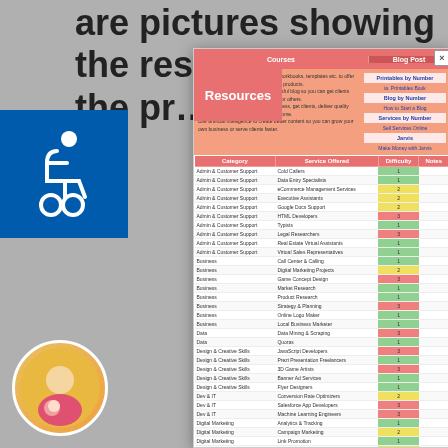are pictures showing the results of using the pr…
[Figure (screenshot): Resources modal overlay showing a table of freelance services with Category, Service Offered, Difficulty, and Notes columns. Top nav has Courses and Blog Post sections. Includes links like Printables by Number, Blog by Number, Services by Number, Jarvis.]
[Figure (photo): Wheelchair accessibility icon in blue box]
[Figure (photo): Avatar/portrait circle in bottom left corner]